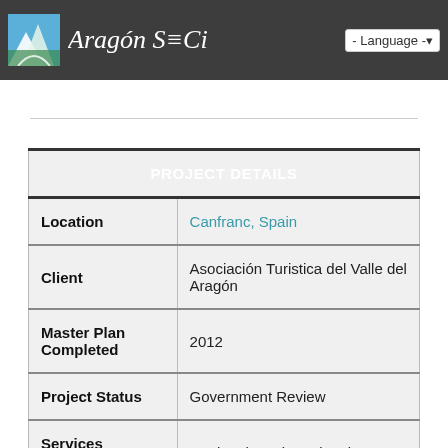Aragón Ski Ci — Language
| PROJECT DETAILS |  |
| --- | --- |
| Location | Canfranc, Spain |
| Client | Asociación Turistica del Valle del Aragón |
| Master Plan Completed | 2012 |
| Project Status | Government Review |
| Services Rendered | Regional Tourism Planning |